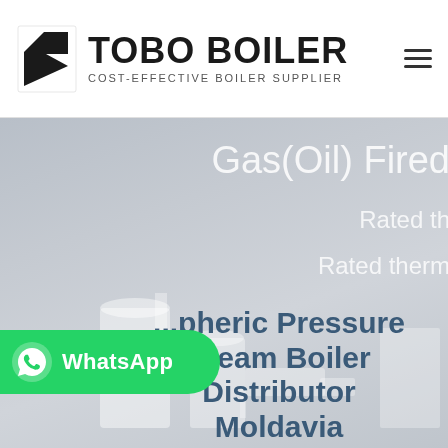[Figure (logo): TOBO BOILER logo with black geometric icon and text 'TOBO BOILER / COST-EFFECTIVE BOILER SUPPLIER']
[Figure (photo): Hero banner with industrial boiler equipment photograph, overlaid with partially visible text 'Gas(Oil) Fired...', 'Rated th...', 'Rated therm...' on the right side, and a WhatsApp button on the lower left]
...pheric Pressure Steam Boiler Distributor Moldavia